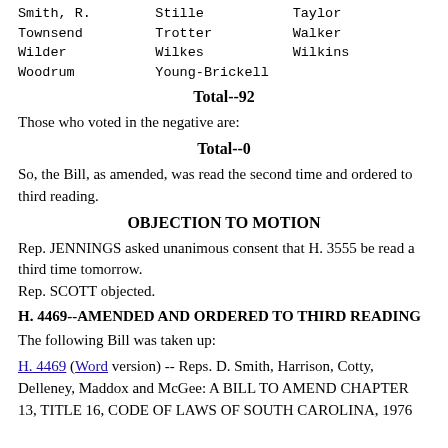Smith, R.   Stille   Taylor
Townsend   Trotter   Walker
Wilder   Wilkes   Wilkins
Woodrum   Young-Brickell
Total--92
Those who voted in the negative are:
Total--0
So, the Bill, as amended, was read the second time and ordered to third reading.
OBJECTION TO MOTION
Rep. JENNINGS asked unanimous consent that H. 3555 be read a third time tomorrow.
Rep. SCOTT objected.
H. 4469--AMENDED AND ORDERED TO THIRD READING
The following Bill was taken up:
H. 4469 (Word version) -- Reps. D. Smith, Harrison, Cotty, Delleney, Maddox and McGee: A BILL TO AMEND CHAPTER 13, TITLE 16, CODE OF LAWS OF SOUTH CAROLINA, 1976